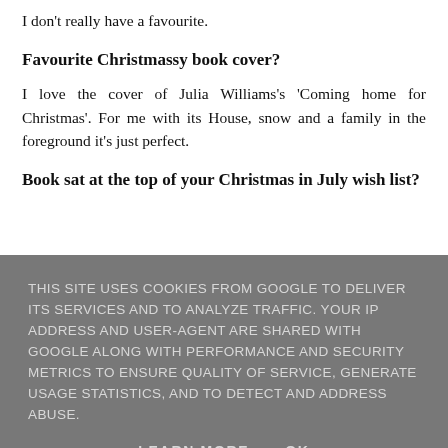I don't really have a favourite.
Favourite Christmassy book cover?
I love the cover of Julia Williams's 'Coming home for Christmas'. For me with its House, snow and a family in the foreground it's just perfect.
Book sat at the top of your Christmas in July wish list?
THIS SITE USES COOKIES FROM GOOGLE TO DELIVER ITS SERVICES AND TO ANALYZE TRAFFIC. YOUR IP ADDRESS AND USER-AGENT ARE SHARED WITH GOOGLE ALONG WITH PERFORMANCE AND SECURITY METRICS TO ENSURE QUALITY OF SERVICE, GENERATE USAGE STATISTICS, AND TO DETECT AND ADDRESS ABUSE.
LEARN MORE   OK